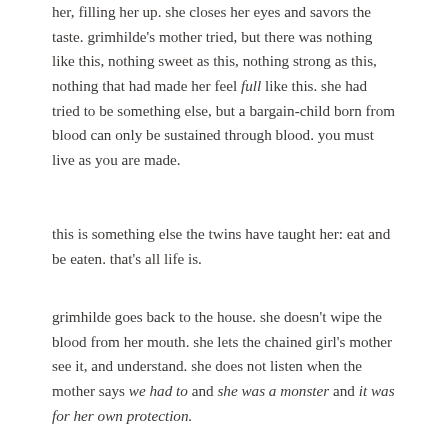her, filling her up. she closes her eyes and savors the taste. grimhilde's mother tried, but there was nothing like this, nothing sweet as this, nothing strong as this, nothing that had made her feel full like this. she had tried to be something else, but a bargain-child born from blood can only be sustained through blood. you must live as you are made.
this is something else the twins have taught her: eat and be eaten. that's all life is.
grimhilde goes back to the house. she doesn't wipe the blood from her mouth. she lets the chained girl's mother see it, and understand. she does not listen when the mother says we had to and she was a monster and it was for her own protection.